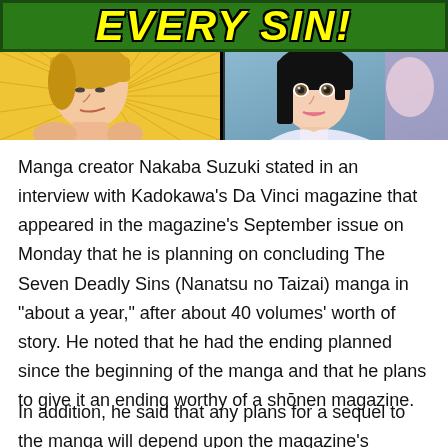[Figure (illustration): Banner with green background and yellow bold italic text 'EVERY SIN!' above two manga comic panels side by side. Left panel shows a blonde male character with speed lines background. Right panel shows a dark-haired female character against a blue-grey background.]
Manga creator Nakaba Suzuki stated in an interview with Kadokawa's Da Vinci magazine that appeared in the magazine's September issue on Monday that he is planning on concluding The Seven Deadly Sins (Nanatsu no Taizai) manga in “about a year,” after about 40 volumes’ worth of story. He noted that he had the ending planned since the beginning of the manga and that he plans to give it an ending worthy of a shōnen magazine.
In addition, he said that any plans for a sequel to the manga will depend upon the magazine’s editors. He noted that it is